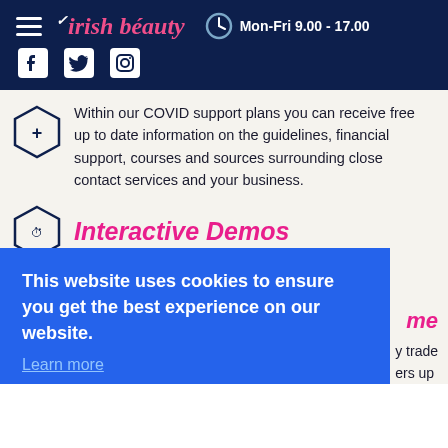Irish beauty — Mon-Fri 9.00 - 17.00 — Facebook, Twitter, Instagram
Within our COVID support plans you can receive free up to date information on the guidelines, financial support, courses and sources surrounding close contact services and your business.
Interactive Demos
This website uses cookies to ensure you get the best experience on our website. Learn more
Got it!